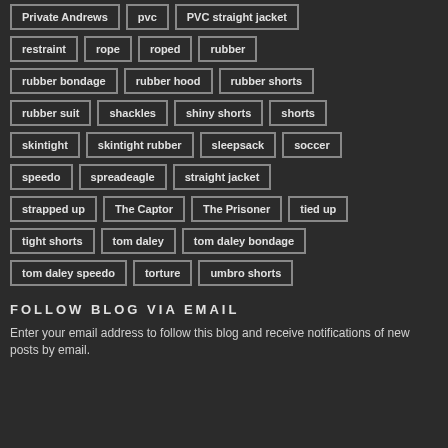Private Andrews, pvc, PVC straight jacket
restraint, rope, roped, rubber
rubber bondage, rubber hood, rubber shorts
rubber suit, shackles, shiny shorts, shorts
skintight, skintight rubber, sleepsack, soccer
speedo, spreadeagle, straight jacket
strapped up, The Captor, The Prisoner, tied up
tight shorts, tom daley, tom daley bondage
tom daley speedo, torture, umbro shorts
FOLLOW BLOG VIA EMAIL
Enter your email address to follow this blog and receive notifications of new posts by email.